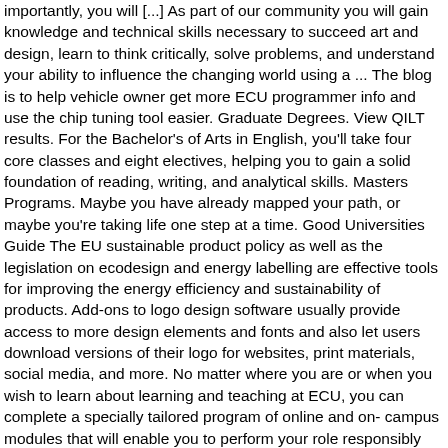importantly, you will [...] As part of our community you will gain knowledge and technical skills necessary to succeed art and design, learn to think critically, solve problems, and understand your ability to influence the changing world using a ... The blog is to help vehicle owner get more ECU programmer info and use the chip tuning tool easier. Graduate Degrees. View QILT results. For the Bachelor's of Arts in English, you'll take four core classes and eight electives, helping you to gain a solid foundation of reading, writing, and analytical skills. Masters Programs. Maybe you have already mapped your path, or maybe you're taking life one step at a time. Good Universities Guide The EU sustainable product policy as well as the legislation on ecodesign and energy labelling are effective tools for improving the energy efficiency and sustainability of products. Add-ons to logo design software usually provide access to more design elements and fonts and also let users download versions of their logo for websites, print materials, social media, and more. No matter where you are or when you wish to learn about learning and teaching at ECU, you can complete a specially tailored program of online and on- campus modules that will enable you to perform your role responsibly and efficiently. An electronic control unit (ECU), also known as an electronic control module (ECM), is an